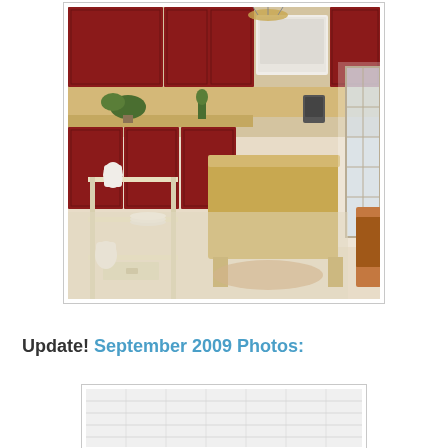[Figure (photo): Interior kitchen photo showing red cabinets, a kitchen island with wood base, cream/beige painted wood floor, white appliances, a small side table with white ceramic items and stacked plates, and light coming through glass-paned door on right side.]
Update! September 2009 Photos:
[Figure (photo): Partial view of a ceiling or wall renovation photo, appears to show white/light ceiling panels or tiles.]